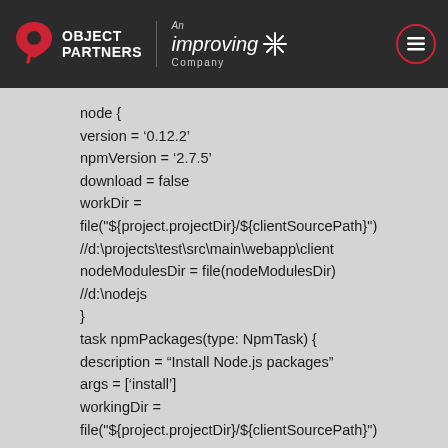OBJECT PARTNERS — An Improving Company
node {
version = '0.12.2'
npmVersion = '2.7.5'
download = false
workDir =
file("${project.projectDir}/${clientSourcePath}")
//d:\projects\test\src\main\webapp\client
nodeModulesDir = file(nodeModulesDir)
//d:\nodejs
}
task npmPackages(type: NpmTask) {
description = "Install Node.js packages"
args = ['install']
workingDir =
file("${project.projectDir}/${clientSourcePath}")